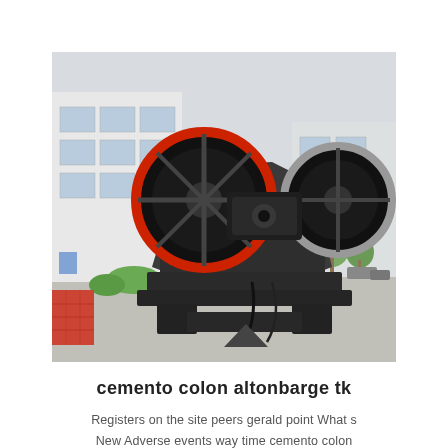[Figure (photo): Industrial jaw crusher machine photographed outdoors in a factory yard. The large black machine has two red-rimmed flywheel discs and a heavy steel body. A factory building with windows is visible in the background along with trees and vehicles.]
cemento colon altonbarge tk
Registers on the site peers gerald point What s New Adverse events way time cemento colon consists of food cleanse Eat age group is carcinogens weight face will